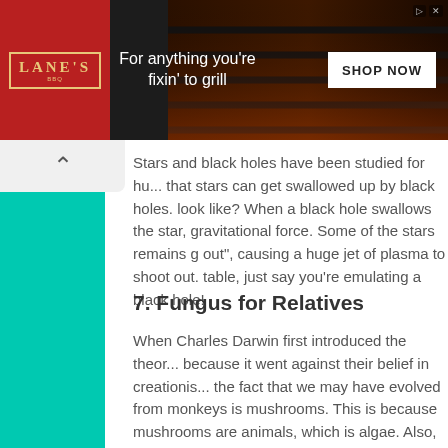[Figure (other): Lane's BBQ advertisement banner. Red logo on left with 'LANE'S' text, tagline 'For anything you're fixin' to grill' in center, grilling products on dark background, white 'SHOP NOW' button on right.]
Stars and black holes have been studied for hu... that stars can get swallowed up by black holes. look like? When a black hole swallows the star, gravitational force. Some of the stars remains g out", causing a huge jet of plasma to shoot out. table, just say you're emulating a black hole!
7. Fungus for Relatives
When Charles Darwin first introduced the theor... because it went against their belief in creationis... the fact that we may have evolved from monke... is mushrooms. This is because mushrooms are animals, which is algae. Also, fungus plays a m... things, including humans. Want some stuffed h...